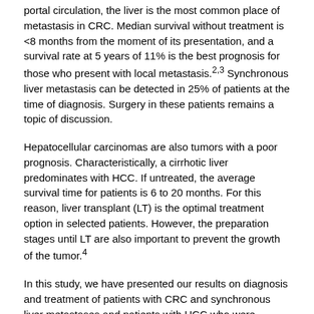portal circulation, the liver is the most common place of metastasis in CRC. Median survival without treatment is <8 months from the moment of its presentation, and a survival rate at 5 years of 11% is the best prognosis for those who present with local metastasis.2,3 Synchronous liver metastasis can be detected in 25% of patients at the time of diagnosis. Surgery in these patients remains a topic of discussion.
Hepatocellular carcinomas are also tumors with a poor prognosis. Characteristically, a cirrhotic liver predominates with HCC. If untreated, the average survival time for patients is 6 to 20 months. For this reason, liver transplant (LT) is the optimal treatment option in selected patients. However, the preparation stages until LT are also important to prevent the growth of the tumor.4
In this study, we have presented our results on diagnosis and treatment of patients with CRC and synchronous liver metastases and patients with HCC who were planned for LT in our clinic. Our aim was to investigate the effects of liver tumor resection on survival in patients with primary and secondary liver tumors.
Materials and Methods